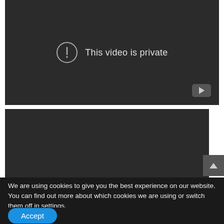[Figure (screenshot): YouTube embedded video player showing 'This video is private' message with an exclamation mark in a circle icon, and a YouTube logo button in bottom right corner. Dark background.]
[Figure (screenshot): Second embedded video player, dark/black background with no content visible.]
We are using cookies to give you the best experience on our website.
You can find out more about which cookies we are using or switch them off in settings.
Accept